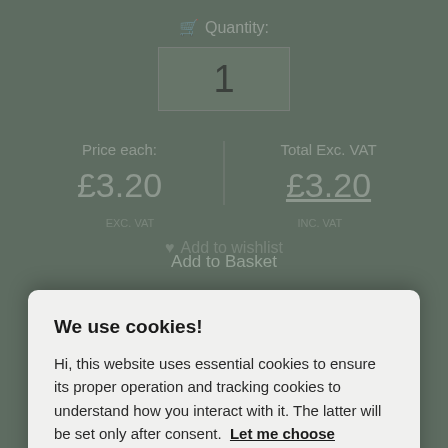🛒 Quantity:
1
Price each:
£3.20
Total Exc. VAT
£3.20
Add to wishlist
We use cookies!
Hi, this website uses essential cookies to ensure its proper operation and tracking cookies to understand how you interact with it. The latter will be set only after consent. Let me choose
Accept all
Add to Basket
Reject all